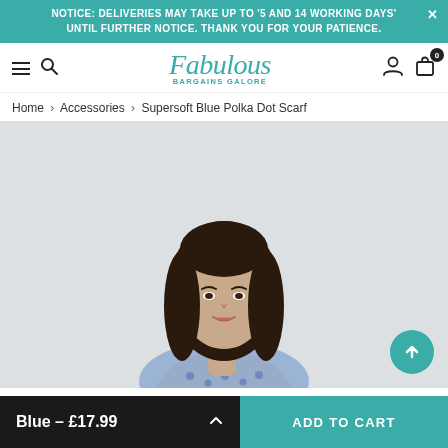NOTICE: DELIVERIES MAY TAKE UP TO '5 AND 14 WORKING DAYS' UNTIL FURTHER NOTICE. THANK YOU FOR YOUR PATIENCE.
[Figure (logo): Fabulous Bargains Galore logo in teal cursive script with navigation icons (hamburger menu, search, user account, cart with 0 badge)]
Home › Accessories › Supersoft Blue Polka Dot Scarf
[Figure (photo): Young woman with long dark brown hair, wearing a blue polka dot scarf, against a light grey background. Product photo for Supersoft Blue Polka Dot Scarf.]
Blue - £17.99
ADD TO CART